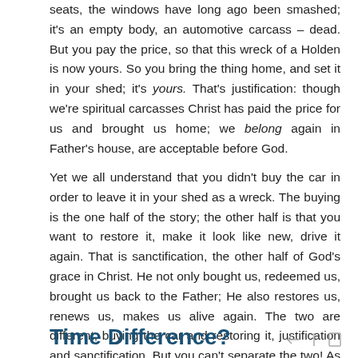seats, the windows have long ago been smashed; it's an empty body, an automotive carcass – dead. But you pay the price, so that this wreck of a Holden is now yours. So you bring the thing home, and set it in your shed; it's yours. That's justification: though we're spiritual carcasses Christ has paid the price for us and brought us home; we belong again in Father's house, are acceptable before God.
Yet we all understand that you didn't buy the car in order to leave it in your shed as a wreck. The buying is the one half of the story; the other half is that you want to restore it, make it look like new, drive it again. That is sanctification, the other half of God's grace in Christ. He not only bought us, redeemed us, brought us back to the Father; He also restores us, renews us, makes us alive again. The two are different, buying the car and restoring it, justification and sanctification. But you can't separate the two! As buying the car without restoring it is a job half done, so justification without sanctification is a job half done. Grace is the whole package!
Time Difference?